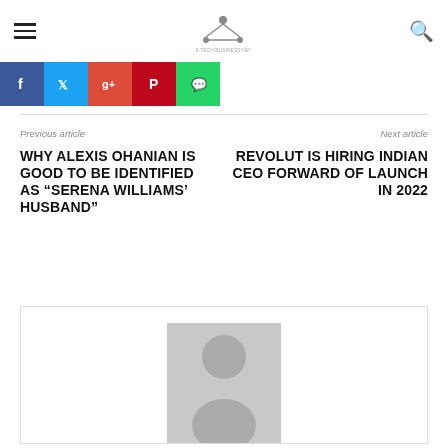[hamburger menu] [site logo] [search icon]
[Figure (other): Social share buttons: Facebook, Twitter, Google+, Pinterest, WhatsApp]
Previous article
Next article
WHY ALEXIS OHANIAN IS GOOD TO BE IDENTIFIED AS “SERENA WILLIAMS’ HUSBAND”
REVOLUT IS HIRING INDIAN CEO FORWARD OF LAUNCH IN 2022
[Figure (photo): Author avatar placeholder image — grey rectangle with silhouette person icon]